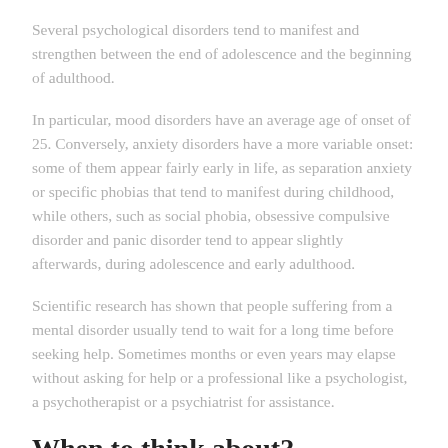Several psychological disorders tend to manifest and strengthen between the end of adolescence and the beginning of adulthood.
In particular, mood disorders have an average age of onset of 25. Conversely, anxiety disorders have a more variable onset: some of them appear fairly early in life, as separation anxiety or specific phobias that tend to manifest during childhood, while others, such as social phobia, obsessive compulsive disorder and panic disorder tend to appear slightly afterwards, during adolescence and early adulthood.
Scientific research has shown that people suffering from a mental disorder usually tend to wait for a long time before seeking help. Sometimes months or even years may elapse without asking for help or a professional like a psychologist, a psychotherapist or a psychiatrist for assistance.
When to think about?